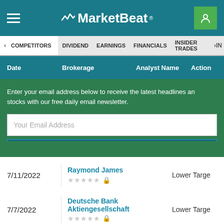MarketBeat
COMPETITORS | DIVIDEND | EARNINGS | FINANCIALS | INSIDER TRADES
| Date | Brokerage | Analyst Name | Action |
| --- | --- | --- | --- |
| 7/11/2022 | Raymond James |  | Lower Target |
| 7/7/2022 | Deutsche Bank Aktiengesellschaft |  | Lower Target |
Enter your email address below to receive the latest headlines and stocks with our free daily email newsletter.